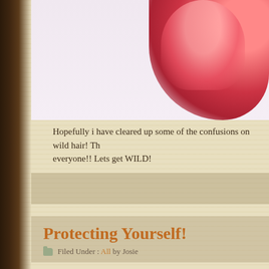[Figure (illustration): Top portion of a decorative blog page showing a red/pink floral or decorative element on a light purple background]
Hopefully i have cleared up some of the confusions on wild hair! Th... everyone!! Lets get WILD!
[Figure (other): Ad or divider bar with grayish-tan background]
Protecting Yourself!
Filed Under : All by Josie
Happy Monday everyone! I hope you all had a great weekend!!!  To... time to remind everyone how to protect yourself in Secondlife while... breedables.
A few things you can do to protect yourself and your breedables.
Don't buy/sell breedables to avatars that are only one day old.
Always set prices of your breedables in your inventory or in a...